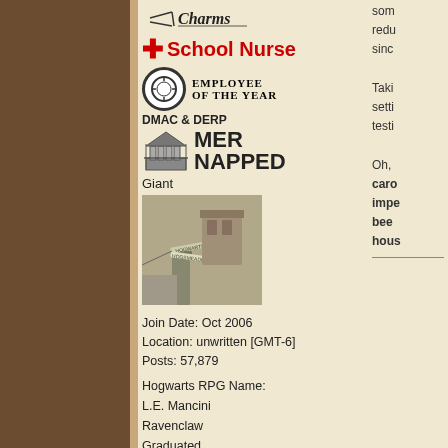[Figure (illustration): Charms badge with decorative text]
School Nurse
[Figure (illustration): Employee of the Year badge with circular emblem]
DMAC & DERP
[Figure (illustration): MER NAPPED badge with building icon]
Giant
[Figure (photo): Photo of Hogwarts and Hogsmeade signpost]
Join Date: Oct 2006
Location: unwritten [GMT-6]
Posts: 57,879
Hogwarts RPG Name:
L.E. Mancini
Ravenclaw
Graduated
Hogwarts RPG Name:
Apollo Grimm Adara-Stark
Gryffindor
Sixth Year
Ministry RPG Name:
Chloe Michelle Adara